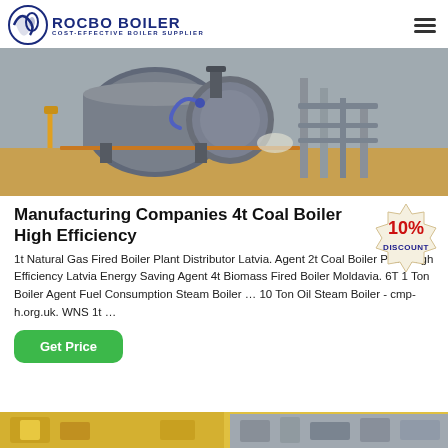ROCBO BOILER - COST-EFFECTIVE BOILER SUPPLIER
[Figure (photo): Industrial boiler equipment photograph showing large cylindrical boiler vessel with pipes, valves and steel framework in a factory setting]
Manufacturing Companies 4t Coal Boiler High Efficiency
[Figure (infographic): 10% DISCOUNT badge/sticker graphic in red and yellow]
1t Natural Gas Fired Boiler Plant Distributor Latvia. Agent 2t Coal Boiler Plant High Efficiency Latvia Energy Saving Agent 4t Biomass Fired Boiler Moldavia. 6T 1 Ton Boiler Agent Fuel Consumption Steam Boiler … 10 Ton Oil Steam Boiler - cmp-h.org.uk. WNS 1t …
[Figure (photo): Partial view of yellow industrial equipment at bottom of page]